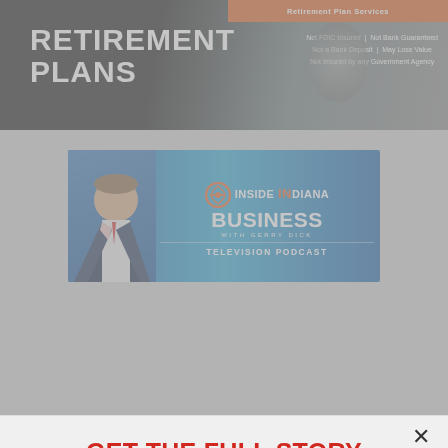[Figure (illustration): Retirement Plans advertisement banner with dark background and orange bar saying 'Retirement Plan Services'. Text: Not FDIC Insured | Not Bank Guaranteed | Not a Bank Deposit | May Lose Value | Not Insured by any Government Agency]
[Figure (illustration): Inside INdiana Business with Gerry Dick - Television Podcast banner advertisement with blue gradient background and person in suit]
GET THE FULL STORY
Enjoy unlimited access to both Inside INdiana Business and IBJ with The Business News Subscription
Subscribe Now
Already a paid subscriber?
Log In